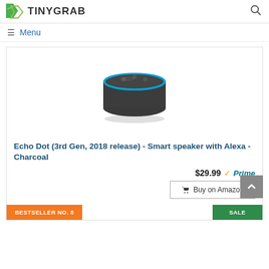TINYGRAB
≡ Menu
[Figure (photo): Echo Dot 3rd Gen smart speaker in charcoal color with blue ring light on top]
Echo Dot (3rd Gen, 2018 release) - Smart speaker with Alexa - Charcoal
$29.99 ✓Prime
🛒 Buy on Amazon
BESTSELLER NO. 8
SALE